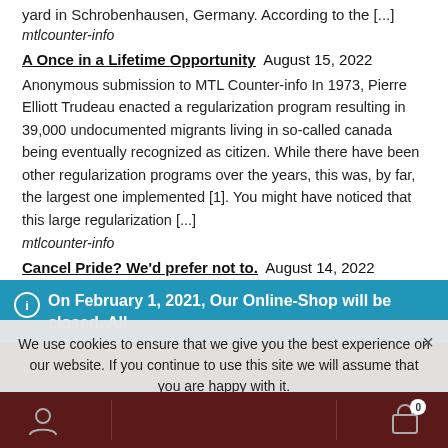yard in Schrobenhausen, Germany. According to the [...]
mtlcounter-info
A Once in a Lifetime Opportunity August 15, 2022
Anonymous submission to MTL Counter-info In 1973, Pierre Elliott Trudeau enacted a regularization program resulting in 39,000 undocumented migrants living in so-called canada being eventually recognized as citizen. While there have been other regularization programs over the years, this was, by far, the largest one implemented [1]. You might have noticed that this large regularization [...]
mtlcounter-info
Cancel Pride? We'd prefer not to. August 14, 2022
On February 1, 2021, Our Online-Shop will be closed. All orders until January 31 will be delivered
Dismiss
We use cookies to ensure that we give you the best experience on our website. If you continue to use this site we will assume that you are happy with it.
Ok